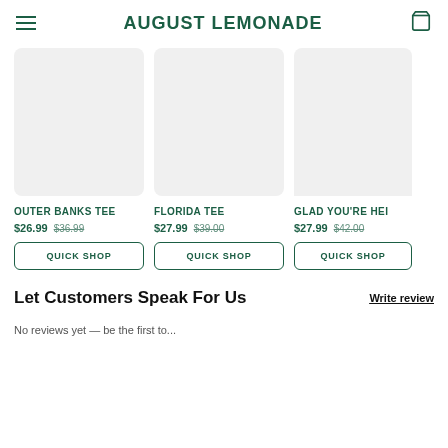AUGUST LEMONADE
[Figure (photo): Product image placeholder for Outer Banks Tee (light gray rectangle)]
OUTER BANKS TEE
$26.99  $36.99
QUICK SHOP
[Figure (photo): Product image placeholder for Florida Tee (light gray rectangle)]
FLORIDA TEE
$27.99  $39.00
QUICK SHOP
[Figure (photo): Product image placeholder for Glad You're Here Tee (light gray rectangle, partially cropped)]
GLAD YOU'RE HEI
$27.99  $42.00
QUICK SHOP
Let Customers Speak For Us
Write review
No reviews yet — be the first to...